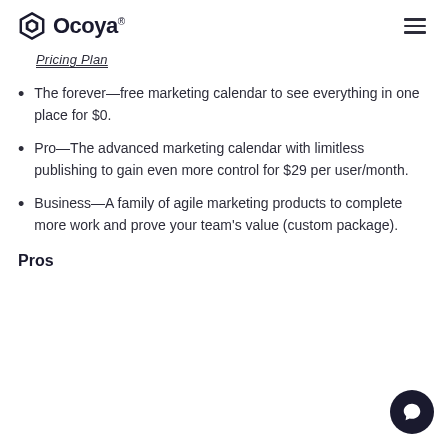Ocoya®
Pricing Plan
The forever—free marketing calendar to see everything in one place for $0.
Pro—The advanced marketing calendar with limitless publishing to gain even more control for $29 per user/month.
Business—A family of agile marketing products to complete more work and prove your team's value (custom package).
Pros